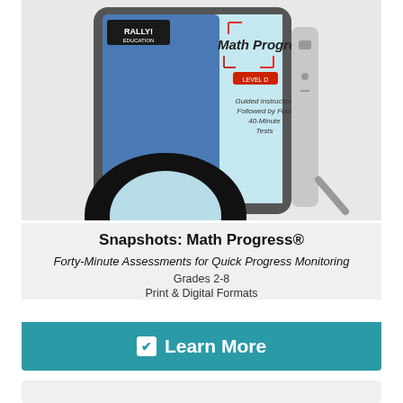[Figure (photo): Tablet device displaying a book cover for 'Snapshots: Math Progress' by Rally! Education, showing a Level D book with text 'Guided Instruction Followed by Four 40-Minute Tests'. The tablet is propped up against a stand on a light blue/grey background.]
Snapshots: Math Progress®
Forty-Minute Assessments for Quick Progress Monitoring
Grades 2-8
Print & Digital Formats
✔ Learn More